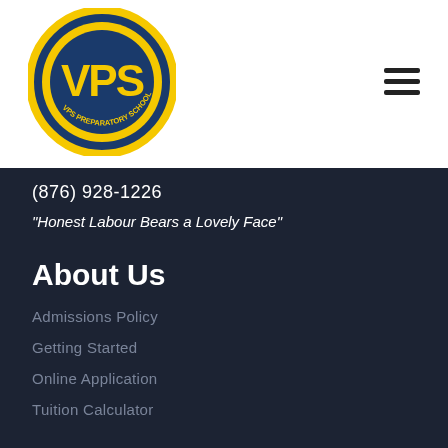[Figure (logo): UPS (VPS) Preparatory School circular logo with yellow and dark blue colors, text 'Honest Labour Bears a Lovely Face' around the border and 'VPS Preparatory School' at the bottom]
(876) 928-1226
"Honest Labour Bears a Lovely Face"
About Us
Admissions Policy
Getting Started
Online Application
Tuition Calculator